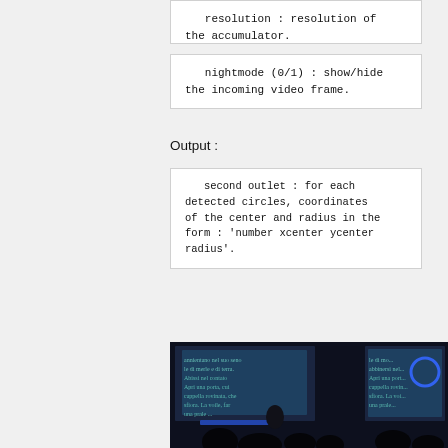resolution : resolution of the accumulator.
nightmode (0/1) : show/hide the incoming video frame.
Output :
second outlet : for each detected circles, coordinates of the center and radius in the form : 'number xcenter ycenter radius'.
[Figure (photo): Two side-by-side dark photographs showing a projected text on screen with silhouettes of audience. The right image shows a blue circle drawn on the projected image.]